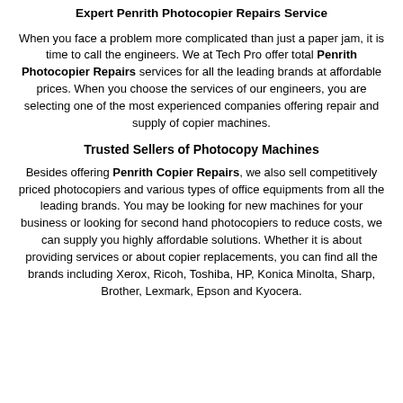Expert Penrith Photocopier Repairs Service
When you face a problem more complicated than just a paper jam, it is time to call the engineers. We at Tech Pro offer total Penrith Photocopier Repairs services for all the leading brands at affordable prices. When you choose the services of our engineers, you are selecting one of the most experienced companies offering repair and supply of copier machines.
Trusted Sellers of Photocopy Machines
Besides offering Penrith Copier Repairs, we also sell competitively priced photocopiers and various types of office equipments from all the leading brands. You may be looking for new machines for your business or looking for second hand photocopiers to reduce costs, we can supply you highly affordable solutions. Whether it is about providing services or about copier replacements, you can find all the brands including Xerox, Ricoh, Toshiba, HP, Konica Minolta, Sharp, Brother, Lexmark, Epson and Kyocera.